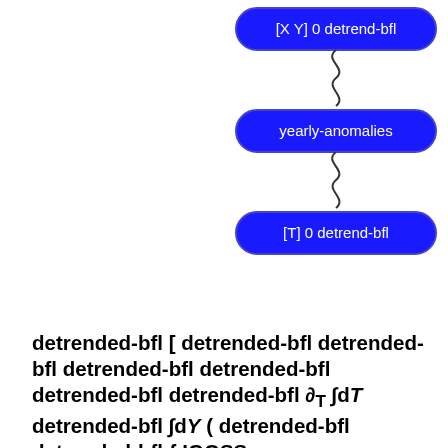[Figure (screenshot): Three blue rounded-rectangle buttons stacked vertically on the right side: '[X Y] 0 detrend-bfl', 'yearly-anomalies', '[T] 0 detrend-bfl', connected by squiggly lines]
detrended-bfl [ detrended-bfl detrended-bfl detrended-bfl detrended-bfl detrended-bfl detrended-bfl ∂T ∫dT detrended-bfl ∫dY ( detrended-bfl detrended-bfl { IGOSS nmc Reyn_SmithOlv1 monthly ssta } anomalies ) anomalies ]: ∂T Sea Surface Temperature Anomaly data
monthly ssta adif adif adif adif int_dY adif int_dT partial_T adif adif adif adif adif adif adif ∂T Sea Surface Temperature Anomaly from IGOSS nmc Reyn_SmithOlv1: Sea surface temperature fields blended from ship, buoy and bias-corrected satellite data